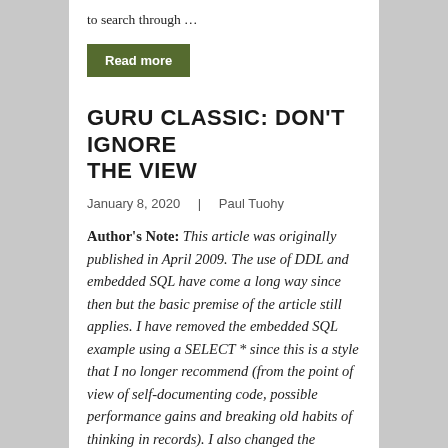to search through …
Read more
GURU CLASSIC: DON'T IGNORE THE VIEW
January 8, 2020    Paul Tuohy
Author's Note: This article was originally published in April 2009. The use of DDL and embedded SQL have come a long way since then but the basic premise of the article still applies. I have removed the embedded SQL example using a SELECT * since this is a style that I no longer recommend (from the point of view of self-documenting code, possible performance gains and breaking old habits of thinking in records). I also changed the example of reformatting a numeric date column to use a DATES